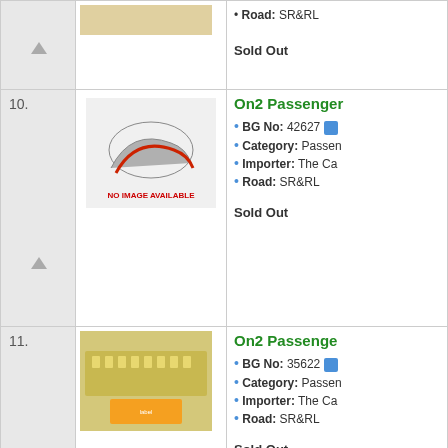Road: SR&RL
Sold Out
[Figure (photo): No image available placeholder for item 10]
On2 Passenger
BG No: 42627
Category: Passenger
Importer: The Ca...
Road: SR&RL
Sold Out
[Figure (photo): Photo of On2 Passenger car item 11, brass model]
On2 Passenger
BG No: 35622
Category: Passenger
Importer: The Ca...
Road: SR&RL
Sold Out
[Figure (photo): Photo of On2 Passenger car item 12, brass model]
On2 Passenger
BG No: 30477
Catalog No: PC-7...
Category: Passenger
Importer: NJ Cust...
Road: SR&RL
Sold Out
[Figure (photo): Photo of On2 Passenger car item 13, brass model]
On2 Passenger
BG No: 30478
Catalog No: PC-7...
Category: Passenger
Importer: NJ Cust...
Road: SR&RL